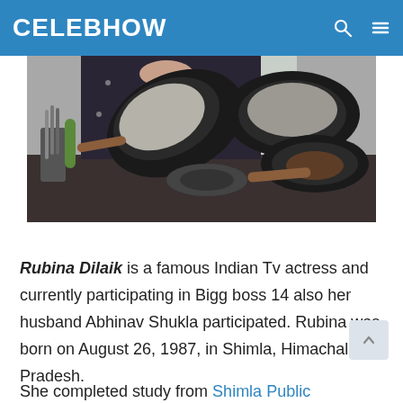CELEBHOW
[Figure (photo): A person cooking, flipping food in a dark non-stick pan over a gas stove, with additional pans visible on the counter.]
Rubina Dilaik is a famous Indian Tv actress and currently participating in Bigg boss 14 also her husband Abhinav Shukla participated. Rubina was born on August 26, 1987, in Shimla, Himachal Pradesh.
She completed study from Shimla Public